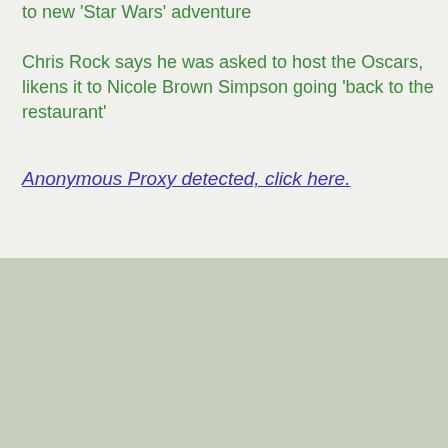to new 'Star Wars' adventure
Chris Rock says he was asked to host the Oscars, likens it to Nicole Brown Simpson going 'back to the restaurant'
Anonymous Proxy detected, click here.
We use cookies on Unkleaboki to give you the most relevant experience by remembering your preferences and repeat visits. By clicking “Accept”, you consent to the use of ALL the cookies.
Do not sell my personal information.
Cookie settings
ACCEPT